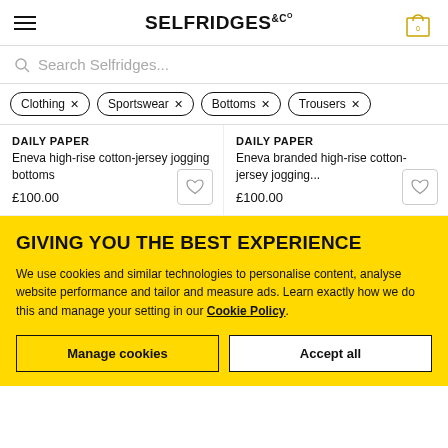SELFRIDGES &Co
Search Selfridges...
Clothing ×
Sportswear ×
Bottoms ×
Trousers ×
DAILY PAPER
Eneva high-rise cotton-jersey jogging bottoms
£100.00
DAILY PAPER
Eneva branded high-rise cotton-jersey jogging...
£100.00
GIVING YOU THE BEST EXPERIENCE
We use cookies and similar technologies to personalise content, analyse website performance and tailor and measure ads. Learn exactly how we do this and manage your setting in our Cookie Policy.
Manage cookies
Accept all